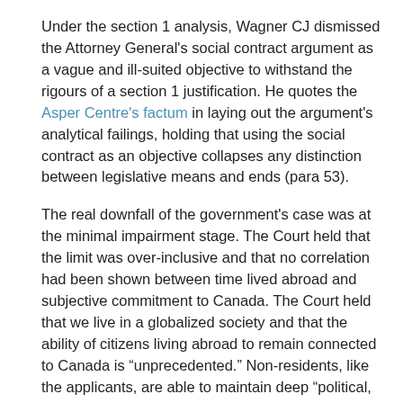Under the section 1 analysis, Wagner CJ dismissed the Attorney General's social contract argument as a vague and ill-suited objective to withstand the rigours of a section 1 justification. He quotes the Asper Centre's factum in laying out the argument's analytical failings, holding that using the social contract as an objective collapses any distinction between legislative means and ends (para 53).
The real downfall of the government's case was at the minimal impairment stage. The Court held that the limit was over-inclusive and that no correlation had been shown between time lived abroad and subjective commitment to Canada. The Court held that we live in a globalized society and that the ability of citizens living abroad to remain connected to Canada is "unprecedented." Non-residents, like the applicants, are able to maintain deep "political, familial, financial or cultural" roots in Canada (para 69). The limit was held to undermine, rather than promote, the underlying objective of electoral fairness in Canada. The Court found that our democracy is "manifestly strengthened" by the demonstration of civic commitment of Canadian citizens abroad voting via special